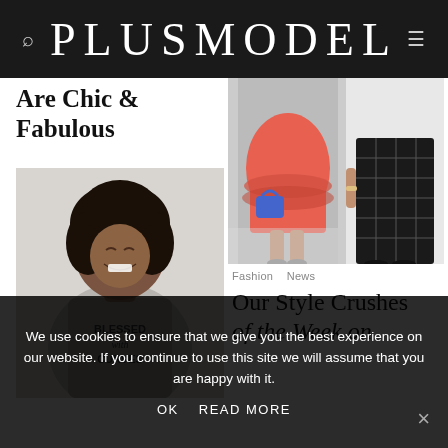PLUSMODEL
Are Chic & Fabulous
[Figure (photo): Smiling plus-size woman wearing a grey t-shirt that reads 'BLESSED with CURVES']
[Figure (photo): Two plus-size women from waist down: one in a coral/pink ruffled dress with blue bag, one in black gridded trousers]
Fashion   News
Our Style Crushes of the Week on
We use cookies to ensure that we give you the best experience on our website. If you continue to use this site we will assume that you are happy with it.
OK   READ MORE